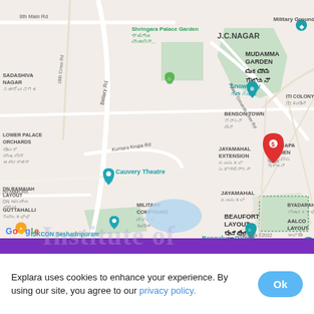[Figure (map): Google Maps screenshot showing area around Bengaluru Palace (Palace Grounds), Bangalore, India. Shows landmarks: Shringara Palace Garden, Snow City, Cauvery Theatre, National Tuberculosis Institute, Bengaluru Palace, ISKCON Seshadripuram, Military Compound, J.C. Nagar, Mudamma Garden, Benson Town, ITI Colony, Chinnapa Garden, Jayamahal Extension, Jayamahal, Beaufort Layout, Byadarahalli, Aalco Layout, Guttahalli, Sadashiva Nagar, Lower Palace Orchards, DN Ramaiah Layout. A red location pin is visible near Palace Grounds Inner Rd. A blue location pin marks Cauvery Theatre. Map data ©2022 Google.]
Explara uses cookies to enhance your experience. By using our site, you agree to our privacy policy.
Ok